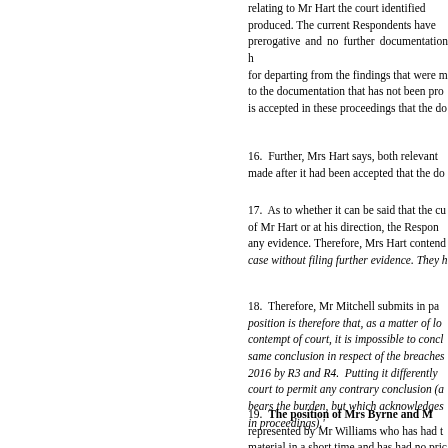relating to Mr Hart the court identified produced. The current Respondents have prerogative and no further documentation for departing from the findings that were m to the documentation that has not been pro is accepted in these proceedings that the do
16. Further, Mrs Hart says, both relevant made after it had been accepted that the do
17. As to whether it can be said that the cu of Mr Hart or at his direction, the Respon any evidence. Therefore, Mrs Hart contend case without filing further evidence. They h
18. Therefore, Mr Mitchell submits in pa position is therefore that, as a matter of lo contempt of court, it is impossible to concl same conclusion in respect of the breaches 2016 by R3 and R4. Putting it differently court to permit any contrary conclusion (a bears the burden, but which acknowledges in proceedings).'
19. The position of Mrs Byrne and represented by Mr Williams who has had material in a short time and has had no pric